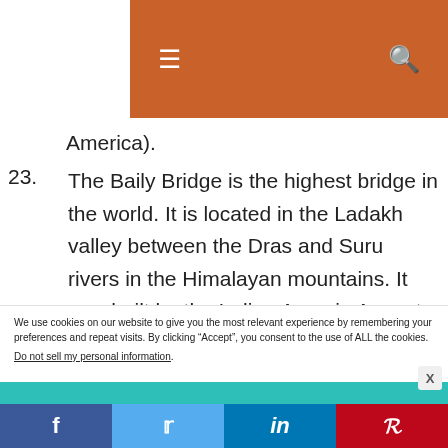Navigation bar with hamburger menu and search icon
America).
23. The Baily Bridge is the highest bridge in the world. It is located in the Ladakh valley between the Dras and Suru rivers in the Himalayan mountains. It was built by the Indian Army in August
We use cookies on our website to give you the most relevant experience by remembering your preferences and repeat visits. By clicking “Accept”, you consent to the use of ALL the cookies.
Do not sell my personal information.
f  Twitter  in  Pinterest social share bar